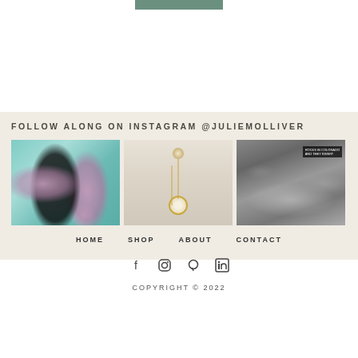FOLLOW ALONG ON INSTAGRAM @JULIEMOLLIVER
[Figure (photo): Three Instagram photos in a row: nail polish bottles on teal water surface, a gold necklace with pendant on cream background, and a rocky stream in black and white]
HOME
SHOP
ABOUT
CONTACT
[Figure (illustration): Social media icons: Facebook, Instagram, Pinterest, LinkedIn]
COPYRIGHT © 2022